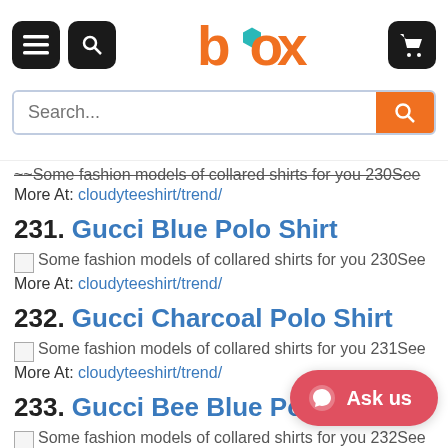[Figure (screenshot): Box e-commerce website header with hamburger menu, search icon, box logo in orange and teal, and shopping cart icon]
Some fashion models of collared shirts for you 230See More At: cloudyteeshirt/trend/
231. Gucci Blue Polo Shirt
Some fashion models of collared shirts for you 230See More At: cloudyteeshirt/trend/
232. Gucci Charcoal Polo Shirt
Some fashion models of collared shirts for you 231See More At: cloudyteeshirt/trend/
233. Gucci Bee Blue Polo Sh...
Some fashion models of collared shirts for you 232See...